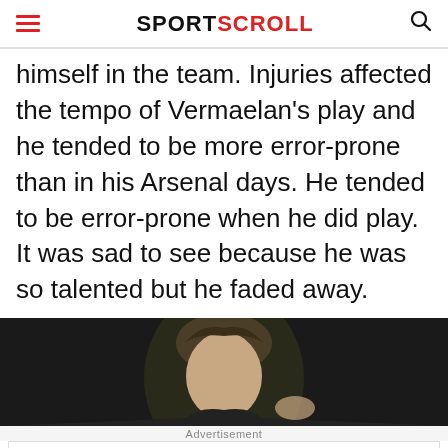SPORTSCROLL
himself in the team. Injuries affected the tempo of Vermaelan's play and he tended to be more error-prone than in his Arsenal days. He tended to be error-prone when he did play. It was sad to see because he was so talented but he faded away.
[Figure (photo): Close-up photo of a person (footballer) against a dark background]
Advertisement
Ad | BitLife - Life Simulator | Install!